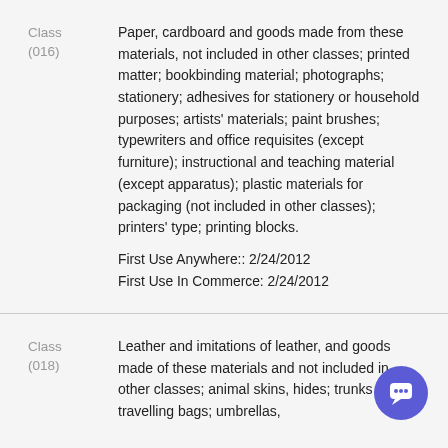Class
(016)
Paper, cardboard and goods made from these materials, not included in other classes; printed matter; bookbinding material; photographs; stationery; adhesives for stationery or household purposes; artists' materials; paint brushes; typewriters and office requisites (except furniture); instructional and teaching material (except apparatus); plastic materials for packaging (not included in other classes); printers' type; printing blocks.
First Use Anywhere:: 2/24/2012
First Use In Commerce: 2/24/2012
Class
(018)
Leather and imitations of leather, and goods made of these materials and not included in other classes; animal skins, hides; trunks and travelling bags; umbrellas,